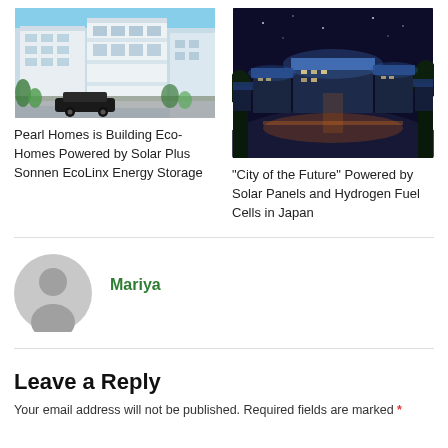[Figure (photo): Architectural rendering of modern eco-homes with solar panels, white multi-story buildings, black car in foreground, tropical plants]
[Figure (photo): Aerial night view of a futuristic city with solar panel rooftops illuminated, Japan]
Pearl Homes is Building Eco-Homes Powered by Solar Plus Sonnen EcoLinx Energy Storage
"City of the Future" Powered by Solar Panels and Hydrogen Fuel Cells in Japan
Mariya
Leave a Reply
Your email address will not be published. Required fields are marked *